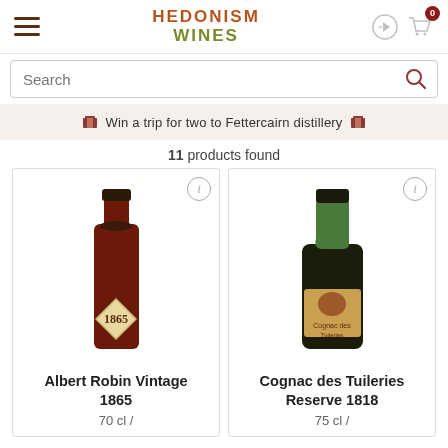HEDONISM WINES
Search
Win a trip for two to Fettercairn distillery
11 products found
[Figure (photo): Bottle of Albert Robin Vintage 1865 cognac with dark label showing year 1865]
Albert Robin Vintage 1865
70 cl /
[Figure (photo): Bottle of Cognac des Tuileries Reserve 1818 with green neck and brown label]
Cognac des Tuileries Reserve 1818
75 cl /